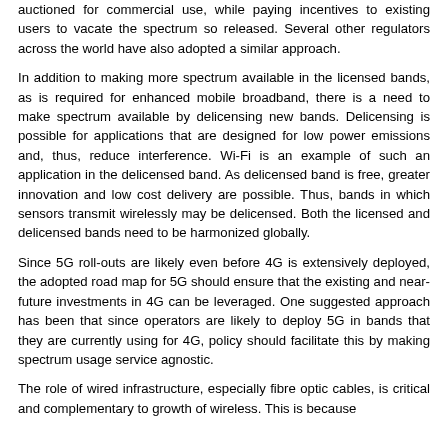auctioned for commercial use, while paying incentives to existing users to vacate the spectrum so released. Several other regulators across the world have also adopted a similar approach.
In addition to making more spectrum available in the licensed bands, as is required for enhanced mobile broadband, there is a need to make spectrum available by delicensing new bands. Delicensing is possible for applications that are designed for low power emissions and, thus, reduce interference. Wi-Fi is an example of such an application in the delicensed band. As delicensed band is free, greater innovation and low cost delivery are possible. Thus, bands in which sensors transmit wirelessly may be delicensed. Both the licensed and delicensed bands need to be harmonized globally.
Since 5G roll-outs are likely even before 4G is extensively deployed, the adopted road map for 5G should ensure that the existing and near-future investments in 4G can be leveraged. One suggested approach has been that since operators are likely to deploy 5G in bands that they are currently using for 4G, policy should facilitate this by making spectrum usage service agnostic.
The role of wired infrastructure, especially fibre optic cables, is critical and complementary to growth of wireless. This is because and by competition amongst in the backbone by operators to ...